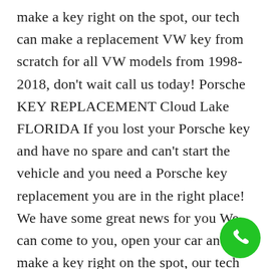make a key right on the spot, our tech can make a replacement VW key from scratch for all VW models from 1998- 2018, don't wait call us today! Porsche KEY REPLACEMENT Cloud Lake FLORIDA If you lost your Porsche key and have no spare and can't start the vehicle and you need a Porsche key replacement you are in the right place! We have some great news for you We can come to you, open your car and make a key right on the spot, our tech can make a replacement Porsche key from scratch for all Porsche models from 1998- 2018, don't wait call us today!